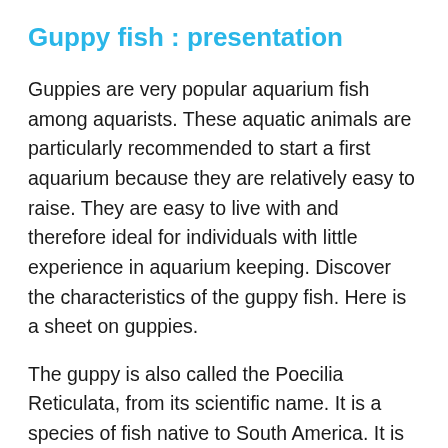Guppy fish : presentation
Guppies are very popular aquarium fish among aquarists. These aquatic animals are particularly recommended to start a first aquarium because they are relatively easy to raise. They are easy to live with and therefore ideal for individuals with little experience in aquarium keeping. Discover the characteristics of the guppy fish. Here is a sheet on guppies.
The guppy is also called the Poecilia Reticulata, from its scientific name. It is a species of fish native to South America. It is a very common fish in western aquariums. It is a species that develops many exceptional colors. The guppy is a very calm fish in an aquarium; it adapts perfectly to the life in